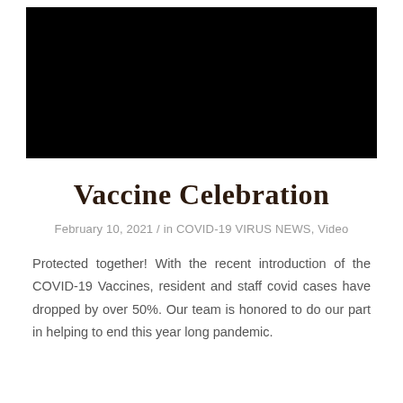[Figure (photo): Black rectangular image at the top of the page, likely a redacted or dark photo]
Vaccine Celebration
February 10, 2021 / in COVID-19 VIRUS NEWS, Video
Protected together! With the recent introduction of the COVID-19 Vaccines, resident and staff covid cases have dropped by over 50%. Our team is honored to do our part in helping to end this year long pandemic.